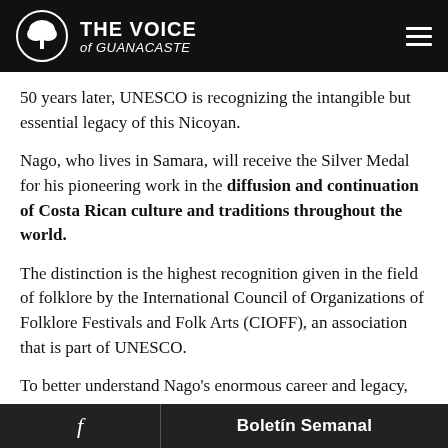THE VOICE of GUANACASTE
50 years later, UNESCO is recognizing the intangible but essential legacy of this Nicoyan.
Nago, who lives in Samara, will receive the Silver Medal for his pioneering work in the diffusion and continuation of Costa Rican culture and traditions throughout the world.
The distinction is the highest recognition given in the field of folklore by the International Council of Organizations of Folklore Festivals and Folk Arts (CIOFF), an association that is part of UNESCO.
To better understand Nago's enormous career and legacy, you have to start at the beginning.
Shortly after finish [GRATIS] and already
f  Boletín Semanal